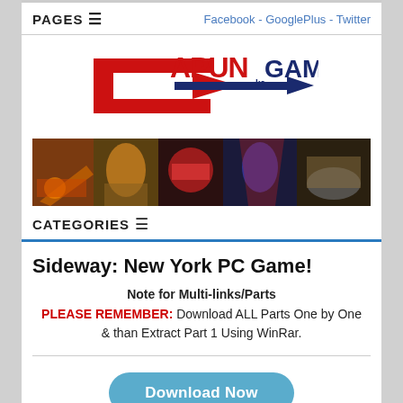PAGES ☰        Facebook - GooglePlus - Twitter
[Figure (logo): CapunKa Games logo with red C arrow and blue navy arrow, text APUN in red and GAMES in navy blue]
[Figure (photo): Gaming banner collage showing various action/fighting game characters]
CATEGORIES ☰
Sideway: New York PC Game!
Note for Multi-links/Parts
PLEASE REMEMBER: Download ALL Parts One by One & than Extract Part 1 Using WinRar.
[Figure (other): Download Now button in blue rounded rectangle]